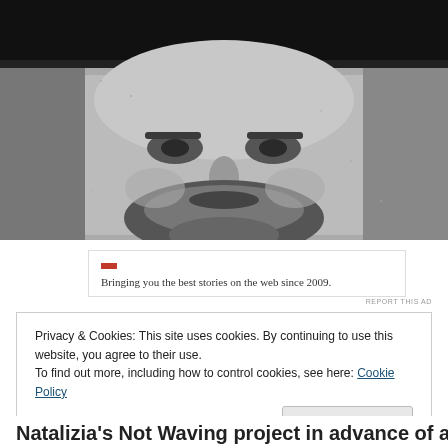[Figure (photo): Black and white photograph of a bearded man's face in close-up, looking pensively]
Bringing you the best stories on the web since 2009.
REPORT THIS AD
Privacy & Cookies: This site uses cookies. By continuing to use this website, you agree to their use.
To find out more, including how to control cookies, see here: Cookie Policy
Close and accept
Natalizia's Not Waving project in advance of a crushing